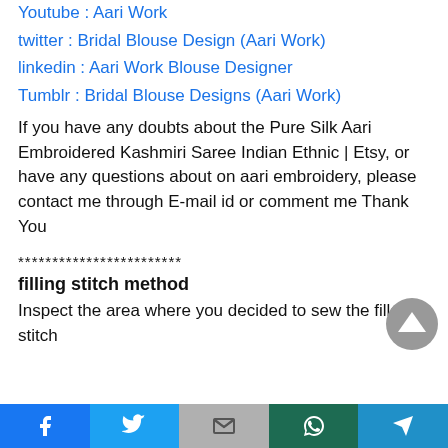Youtube : Aari Work
twitter : Bridal Blouse Design (Aari Work)
linkedin : Aari Work Blouse Designer
Tumblr : Bridal Blouse Designs (Aari Work)
If you have any doubts about the Pure Silk Aari Embroidered Kashmiri Saree Indian Ethnic | Etsy, or have any questions about on aari embroidery, please contact me through E-mail id or comment me Thank You
************************
filling stitch method
Inspect the area where you decided to sew the filler stitch